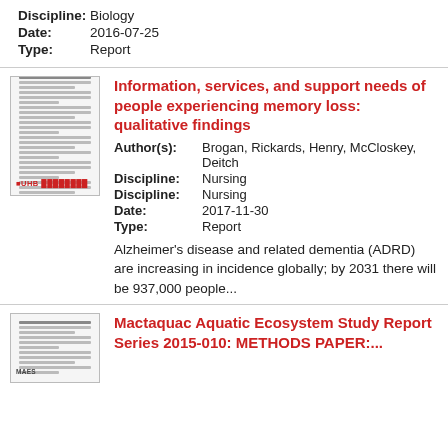Discipline: Biology
Date: 2016-07-25
Type: Report
Information, services, and support needs of people experiencing memory loss: qualitative findings
Author(s): Brogan, Rickards, Henry, McCloskey, Deitch
Discipline: Nursing
Discipline: Nursing
Date: 2017-11-30
Type: Report
Alzheimer's disease and related dementia (ADRD) are increasing in incidence globally; by 2031 there will be 937,000 people...
Mactaquac Aquatic Ecosystem Study Report Series 2015-010: METHODS PAPER:...